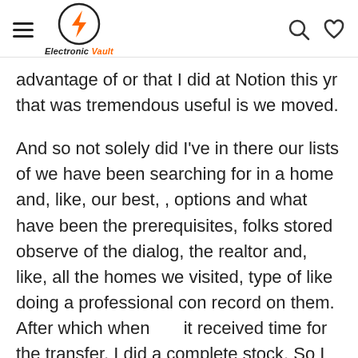Electronic Vault
advantage of or that I did at Notion this yr that was tremendous useful is we moved.
And so not solely did I've in there our lists of we have been searching for in a home and, like, our best, , options and what have been the prerequisites, folks stored observe of the dialog, the realtor and, like, all the homes we visited, type of like doing a professional con record on them. After which when it received time for the transfer, I did a complete stock. So I numbered all of the packing containers. After which once I packed a field, I simply made, like, a 3 phrase or a 3 sentence, only a actually fast… What am I attempting to say? Three phrase, there